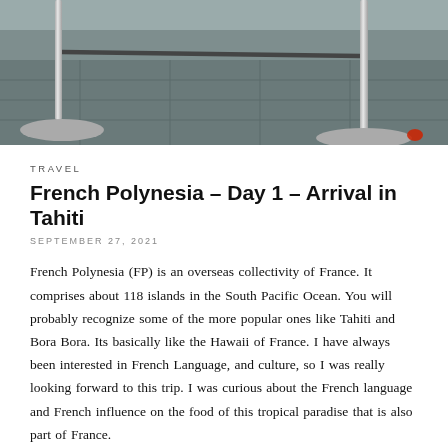[Figure (photo): Interior airport scene showing chrome stanchion poles with rope barrier on a tiled floor]
TRAVEL
French Polynesia – Day 1 – Arrival in Tahiti
SEPTEMBER 27, 2021
French Polynesia (FP) is an overseas collectivity of France. It comprises about 118 islands in the South Pacific Ocean. You will probably recognize some of the more popular ones like Tahiti and Bora Bora. Its basically like the Hawaii of France. I have always been interested in French Language, and culture, so I was really looking forward to this trip. I was curious about the French language and French influence on the food of this tropical paradise that is also part of France.